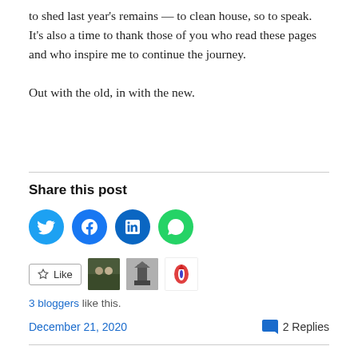to shed last year's remains — to clean house, so to speak. It's also a time to thank those of you who read these pages and who inspire me to continue the journey.

Out with the old, in with the new.
Share this post
[Figure (other): Four social media share buttons: Twitter (blue circle), Facebook (blue circle), LinkedIn (dark blue circle), WhatsApp (green circle)]
[Figure (other): Like button and three blogger avatar thumbnails]
3 bloggers like this.
December 21, 2020    2 Replies